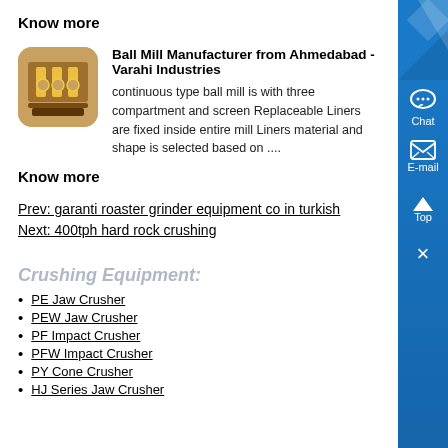Know more
Ball Mill Manufacturer from Ahmedabad - Varahi Industries
continuous type ball mill is with three compartment and screen Replaceable Liners are fixed inside entire mill Liners material and shape is selected based on ....
Know more
Prev: garanti roaster grinder equipment co in turkish
Next: 400tph hard rock crushing
Crushing Equipment:
PE Jaw Crusher
PEW Jaw Crusher
PF Impact Crusher
PFW Impact Crusher
PY Cone Crusher
HJ Series Jaw Crusher